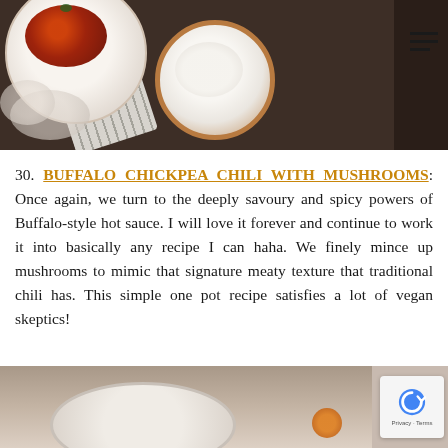[Figure (photo): Overhead food photography showing a bowl of chili and a bowl of cream/sour cream on a dark wooden table with a striped cloth napkin]
30. BUFFALO CHICKPEA CHILI WITH MUSHROOMS: Once again, we turn to the deeply savoury and spicy powers of Buffalo-style hot sauce. I will love it forever and continue to work it into basically any recipe I can haha. We finely mince up mushrooms to mimic that signature meaty texture that traditional chili has. This simple one pot recipe satisfies a lot of vegan skeptics!
[Figure (photo): Partial overhead photo of another food dish, bottom of page, partially cropped]